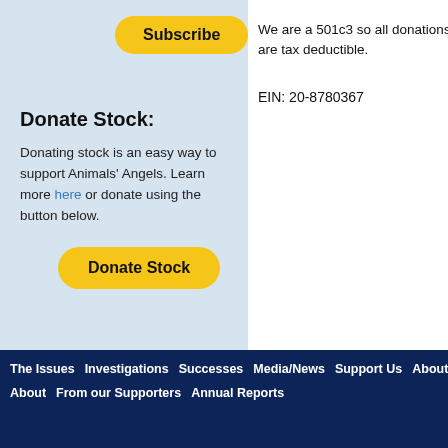[Figure (other): Yellow Subscribe button with rounded corners on light blue background]
Donate Stock:
Donating stock is an easy way to support Animals' Angels. Learn more here or donate using the button below.
[Figure (other): Yellow Donate Stock button with rounded corners]
We are a 501c3 so all donations are tax deductible.
EIN: 20-8780367
The Issues  Investigations  Successes  Media/News  Support Us  About Us  About  From our Supporters  Annual Reports